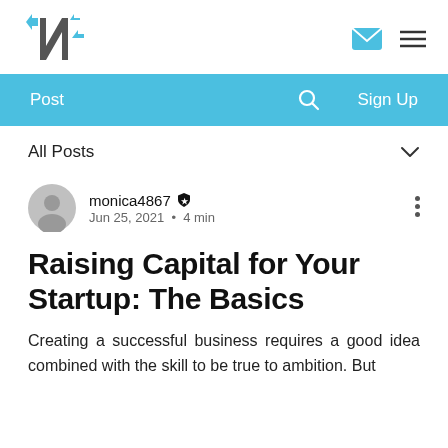Navigation header with logo, email icon, and menu icon
Post  [search]  Sign Up
All Posts
monica4867  Jun 25, 2021 · 4 min
Raising Capital for Your Startup: The Basics
Creating a successful business requires a good idea combined with the skill to be true to ambition. But